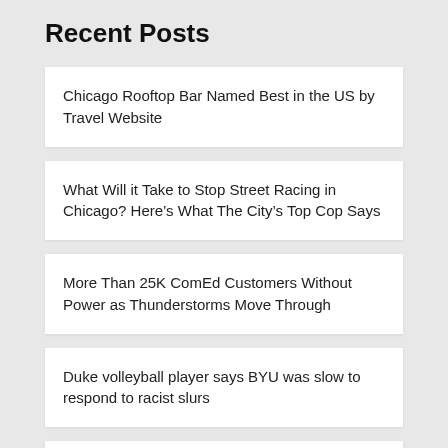Recent Posts
Chicago Rooftop Bar Named Best in the US by Travel Website
What Will it Take to Stop Street Racing in Chicago? Here’s What The City’s Top Cop Says
More Than 25K ComEd Customers Without Power as Thunderstorms Move Through
Duke volleyball player says BYU was slow to respond to racist slurs
Serena’s Farewell: Stories from the leadup to the US Open